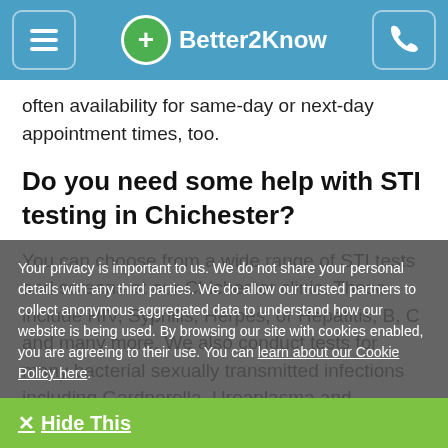Better2Know
often availability for same-day or next-day appointment times, too.
Do you need some help with STI testing in Chichester?
You can choose from a wide range of STI tests and screens at our Chichester clinic. These include HIV, Syphilis, Herpes, or Hepatitis, B, C and many more. We also conduct tests for many bacterial sexually transmitted infections including Gardnerella, Ureaplasma and Mycoplasma. Our sexual health
Your privacy is important to us. We do not share your personal details with any third parties. We do allow our trusted partners to collect anonymous aggregated data to understand how our website is being used. By browsing our site with cookies enabled, you are agreeing to their use. You can learn about our Cookie Policy here.
✕  Hide This